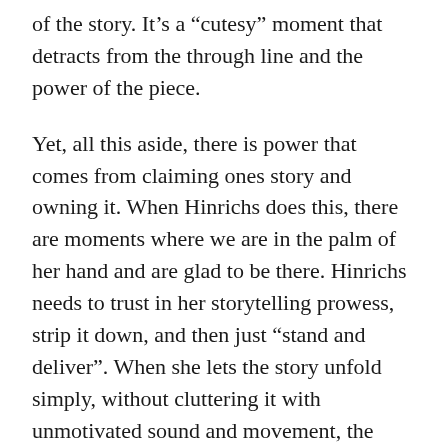of the story. It’s a “cutesy” moment that detracts from the through line and the power of the piece.
Yet, all this aside, there is power that comes from claiming ones story and owning it. When Hinrichs does this, there are moments where we are in the palm of her hand and are glad to be there. Hinrichs needs to trust in her storytelling prowess, strip it down, and then just “stand and deliver”. When she lets the story unfold simply, without cluttering it with unmotivated sound and movement, the beauty and profundity of her story is felt perfectly. Her story is compelling and can hold its own without needing all the “extras” that are being forced into it. Hinrichs perspective growing up as a white child in a heavily segregated community in Chicago is special and deserves to be told. We are able to walk alongside her and experience things as she did,